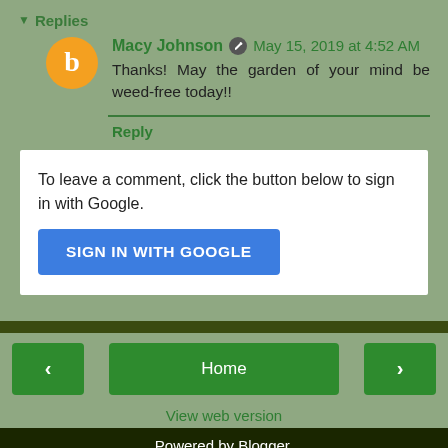▼ Replies
Macy Johnson  May 15, 2019 at 4:52 AM
Thanks! May the garden of your mind be weed-free today!!
Reply
To leave a comment, click the button below to sign in with Google.
[Figure (other): SIGN IN WITH GOOGLE button (blue rounded rectangle)]
Home | View web version | Powered by Blogger.